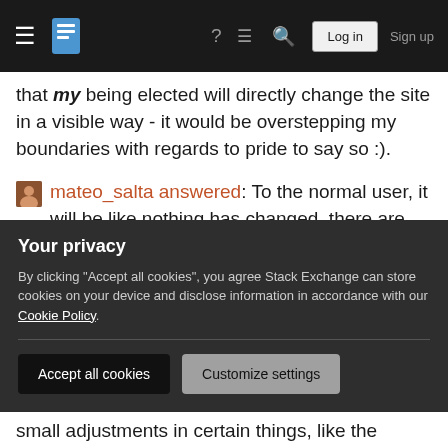Stack Exchange navigation bar with hamburger menu, logo, help, chat, search, Log in, Sign up
that my being elected will directly change the site in a visible way - it would be overstepping my boundaries with regards to pride to say so :).
mateo_salta answered: To the normal user, it will be like nothing has changed, there are allays logical changes to the entire system of course, but a new moderator should not have a goal of "Changing the World" so to say, only in favor of changes for the better, as that could be destructive, and if possible too much power is in the hands of Community Moderators
Your privacy
By clicking "Accept all cookies", you agree Stack Exchange can store cookies on your device and disclose information in accordance with our Cookie Policy.
Accept all cookies  Customize settings
small adjustments in certain things, like the burden